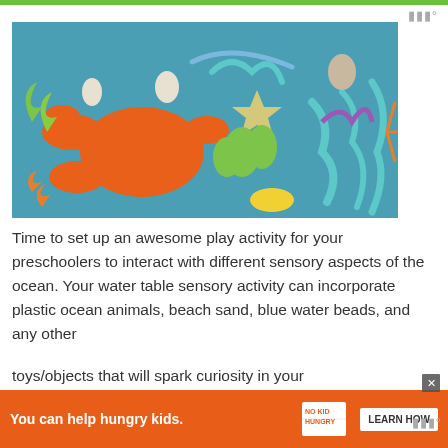[Figure (photo): Child's hand reaching into a colorful ocean-themed sensory bin filled with plastic crabs, starfish, coral, seaweed, shells, and other toy sea creatures on a teal/blue background.]
Time to set up an awesome play activity for your preschoolers to interact with different sensory aspects of the ocean. Your water table sensory activity can incorporate plastic ocean animals, beach sand, blue water beads, and any other toys/objects that will spark curiosity in your
[Figure (infographic): Orange advertisement banner reading 'You can help hungry kids.' with No Kid Hungry logo and 'LEARN HOW' button. Close (X) button in top right corner.]